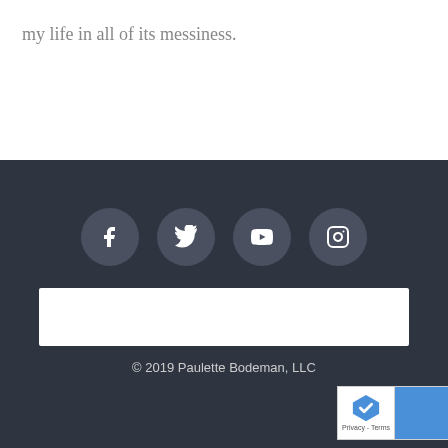my life in all of its messiness.
[Figure (other): Social media icons: Facebook, Twitter, YouTube, Instagram — white icons on dark circular backgrounds, arranged horizontally in a dark footer area]
[Figure (other): White rectangular bar/widget area in the dark footer]
© 2019 Paulette Bodeman, LLC